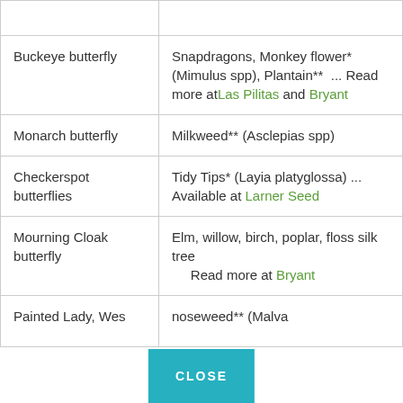| Butterfly | Host Plants |
| --- | --- |
| Buckeye butterfly | Snapdragons, Monkey flower* (Mimulus spp), Plantain**  ... Read more at Las Pilitas and Bryant |
| Monarch butterfly | Milkweed** (Asclepias spp) |
| Checkerspot butterflies | Tidy Tips* (Layia platyglossa) ... Available at Larner Seed |
| Mourning Cloak butterfly | Elm, willow, birch, poplar, floss silk tree ... Read more at Bryant |
| Painted Lady, West... | ...noseweed** (Malva... |